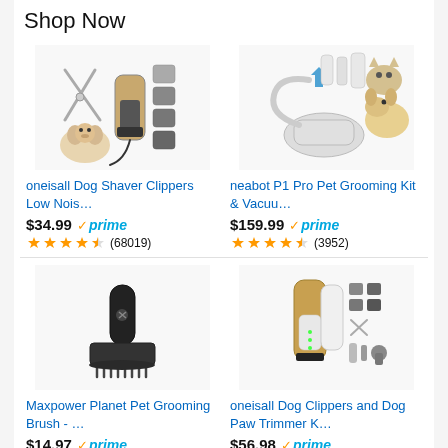Shop Now
[Figure (photo): oneisall dog shaver clippers product image showing clippers, scissors, combs, and a puppy]
oneisall Dog Shaver Clippers Low Nois…
$34.99 ✓prime
(68019) stars rating
[Figure (photo): neabot P1 Pro Pet Grooming Kit & Vacuum product image with white grooming tools, cat, and dog]
neabot P1 Pro Pet Grooming Kit & Vacuu…
$159.99 ✓prime
(3952) stars rating
[Figure (photo): Maxpower Planet Pet Grooming Brush product image showing a black dematting brush]
Maxpower Planet Pet Grooming Brush - …
$14.97 ✓prime
[Figure (photo): oneisall Dog Clippers and Dog Paw Trimmer kit product image showing gold/white clipper with accessories]
oneisall Dog Clippers and Dog Paw Trimmer K…
$56.98 ✓prime